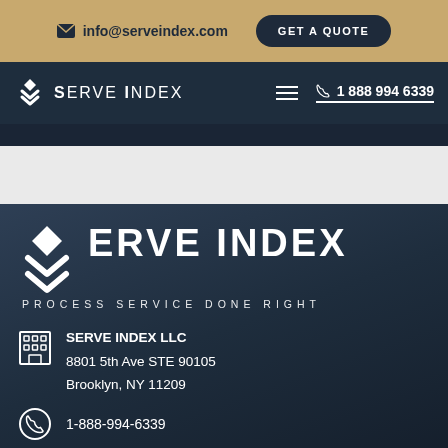info@serveindex.com  GET A QUOTE
[Figure (logo): Serve Index logo with chevron/arrow icon and text 'SERVE INDEX' in white on dark navy navigation bar, with hamburger menu and phone number 1 888 994 6339]
[Figure (logo): Large Serve Index logo in footer: chevron stack icon and 'SERVE INDEX' large white text, tagline 'PROCESS SERVICE DONE RIGHT']
SERVE INDEX LLC
8801 5th Ave STE 90105
Brooklyn, NY 11209
1-888-994-6339